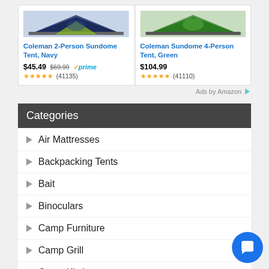[Figure (photo): Coleman 2-Person Sundome Tent, Navy - product image (dark blue tent)]
Coleman 2-Person Sundome Tent, Navy
$45.49  $69.99  prime  ★★★★★ (41135)
[Figure (photo): Coleman Sundome 4-Person Tent, Green - product image (green tent)]
Coleman Sundome 4-Person Tent, Green
$104.99  ★★★★★ (41110)
Ads by Amazon
Categories
Air Mattresses
Backpacking Tents
Bait
Binoculars
Camp Furniture
Camp Grill
Camp Kitchen